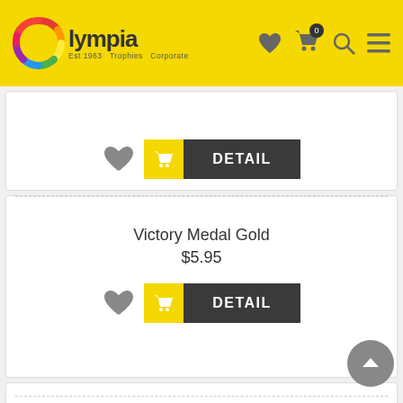[Figure (screenshot): Olympia Trophies Corporate website header with yellow background, logo with rainbow circle, navigation icons (heart, cart with badge '0', search, menu)]
[Figure (screenshot): Product card partial top - showing heart icon, yellow cart button, and dark DETAIL button]
Victory Medal Gold
$5.95
[Figure (screenshot): Product card for Victory Medal Gold with heart icon, yellow cart button, and dark DETAIL button]
[Figure (screenshot): Partial third product card with dashed divider line at bottom of page]